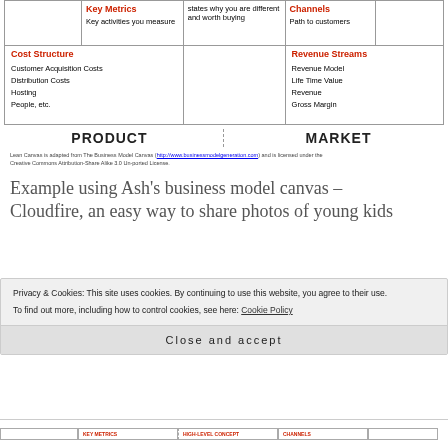|  | Key Metrics | Unique Value Proposition | Channels |
| --- | --- | --- | --- |
|  | Key activities you measure | states why you are different and worth buying | Path to customers |
| Cost Structure | Revenue Streams |  |  |
PRODUCT   MARKET
Lean Canvas is adapted from The Business Model Canvas (http://www.businessmodelgeneration.com) and is licensed under the Creative Commons Attribution-Share Alike 3.0 Un-ported License.
Example using Ash's business model canvas – Cloudfire, an easy way to share photos of young kids
Privacy & Cookies: This site uses cookies. By continuing to use this website, you agree to their use. To find out more, including how to control cookies, see here: Cookie Policy
Close and accept